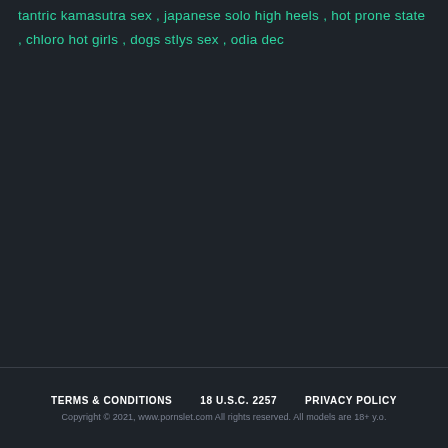tantric kamasutra sex , japanese solo high heels , hot prone state , chloro hot girls , dogs stlys sex , odia dec
TERMS & CONDITIONS   18 U.S.C. 2257   PRIVACY POLICY
Copyright © 2021, www.pornslet.com All rights reserved. All models are 18+ y.o.